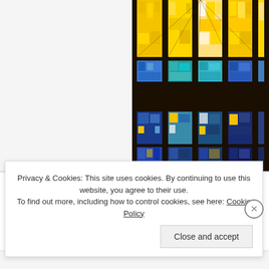[Figure (photo): A colorful stained glass window with radiating panels of yellow, blue, teal, and white geometric shapes, viewed from below in a church or cathedral setting.]
Daily Opening Prayer
O Holy Spirit, Divine Comforter...
Privacy & Cookies: This site uses cookies. By continuing to use this website, you agree to their use.
To find out more, including how to control cookies, see here: Cookie Policy
Close and accept